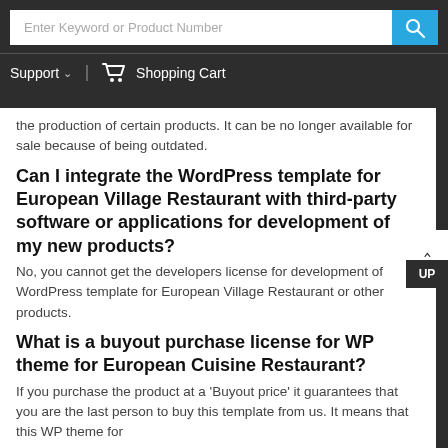[Figure (screenshot): Website navigation header with search bar input field and shopping cart link]
the production of certain products. It can be no longer available for sale because of being outdated.
Can I integrate the WordPress template for European Village Restaurant with third-party software or applications for development of my new products?
No, you cannot get the developers license for development of WordPress template for European Village Restaurant or other products.
What is a buyout purchase license for WP theme for European Cuisine Restaurant?
If you purchase the product at a 'Buyout price' it guarantees that you are the last person to buy this template from us. It means that this WP theme for